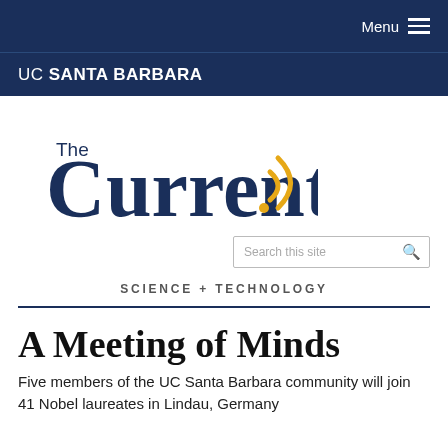Menu
UC SANTA BARBARA
[Figure (logo): The Current logo with stylized RSS/signal arc in gold and navy blue text]
SCIENCE + TECHNOLOGY
A Meeting of Minds
Five members of the UC Santa Barbara community will join 41 Nobel laureates in Lindau, Germany